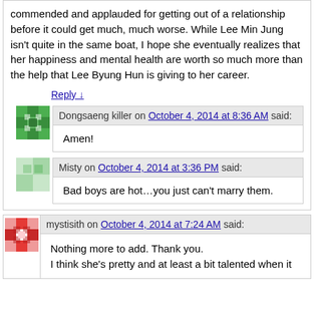commended and applauded for getting out of a relationship before it could get much, much worse. While Lee Min Jung isn't quite in the same boat, I hope she eventually realizes that her happiness and mental health are worth so much more than the help that Lee Byung Hun is giving to her career.
Reply ↓
Dongsaeng killer on October 4, 2014 at 8:36 AM said:
Amen!
Misty on October 4, 2014 at 3:36 PM said:
Bad boys are hot…you just can't marry them.
mystisith on October 4, 2014 at 7:24 AM said:
Nothing more to add. Thank you.
I think she's pretty and at least a bit talented when it